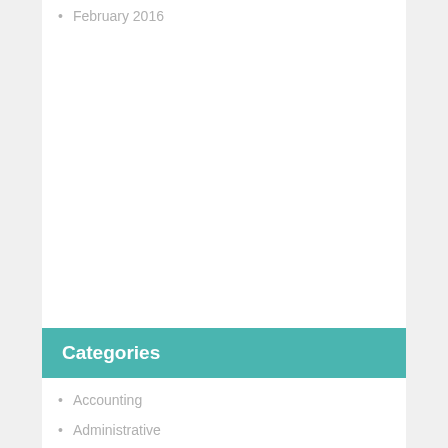February 2016
Categories
Accounting
Administrative
Art